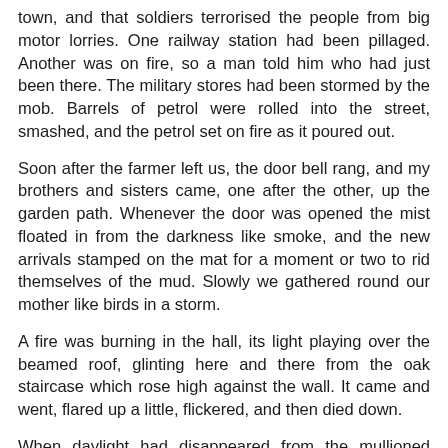town, and that soldiers terrorised the people from big motor lorries. One railway station had been pillaged. Another was on fire, so a man told him who had just been there. The military stores had been stormed by the mob. Barrels of petrol were rolled into the street, smashed, and the petrol set on fire as it poured out.
Soon after the farmer left us, the door bell rang, and my brothers and sisters came, one after the other, up the garden path. Whenever the door was opened the mist floated in from the darkness like smoke, and the new arrivals stamped on the mat for a moment or two to rid themselves of the mud. Slowly we gathered round our mother like birds in a storm.
A fire was burning in the hall, its light playing over the beamed roof, glinting here and there from the oak staircase which rose high against the wall. It came and went, flared up a little, flickered, and then died down.
When daylight had disappeared from the mullioned panes of the window the shaded lamp was lit on the round table. My mother prepared tea, just as if things were as they used to be, when we came home chilled. Then she sat down in her usual place, in the corner of the green velvet couch. Above